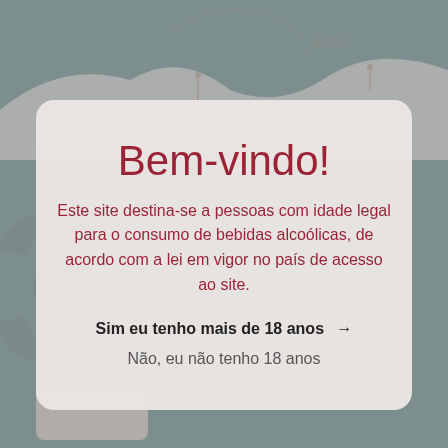[Figure (screenshot): Background of a website showing grey mountainous/hilly landscape silhouette with the italic text 'juntos' and faint large letters in the background]
Bem-vindo!
Este site destina-se a pessoas com idade legal para o consumo de bebidas alcoólicas, de acordo com a lei em vigor no país de acesso ao site.
Sim eu tenho mais de 18 anos →
Não, eu não tenho 18 anos